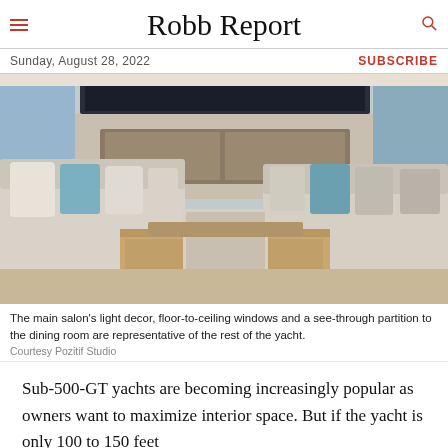Robb Report
Sunday, August 28, 2022
SUBSCRIBE
[Figure (photo): Interior of a luxury yacht main salon showing light-colored sofas, teal accent pillows, floor-to-ceiling windows, a see-through partition to the dining room, and a wooden credenza.]
The main salon's light decor, floor-to-ceiling windows and a see-through partition to the dining room are representative of the rest of the yacht.
Courtesy Pozitif Studio
Sub-500-GT yachts are becoming increasingly popular as owners want to maximize interior space. But if the yacht is only 100 to 150 feet